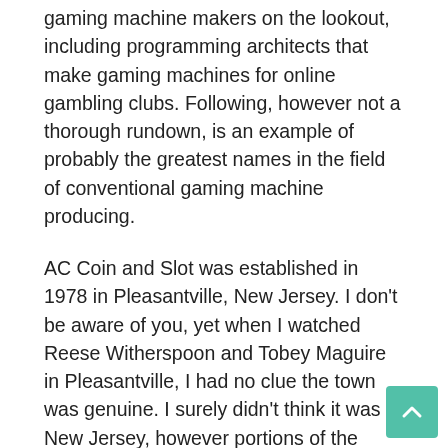gaming machine makers on the lookout, including programming architects that make gaming machines for online gambling clubs. Following, however not a thorough rundown, is an example of probably the greatest names in the field of conventional gaming machine producing.
AC Coin and Slot was established in 1978 in Pleasantville, New Jersey. I don't be aware of you, yet when I watched Reese Witherspoon and Tobey Maguire in Pleasantville, I had no clue the town was genuine. I surely didn't think it was in New Jersey, however portions of the Garden State appear to be sufficiently lovely. Any way, AC Coin and Slot began building gaming machines around a similar time betting was legitimized in New Jersey and at present, as well as selling their own spaces, are the select wholesaler of openings made by International Game Technology in Atlantic City.
Aruze Corporation, situated in Japan, produces gambling machines and different items. They are authorized to